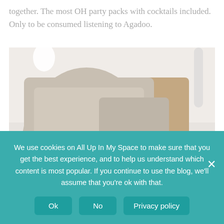together. The most OH party packs with cocktails included. Only to be consumed listening to Agadoo.
[Figure (photo): Interior photo of a modern living room chair with linen cushions, scissors and a white book on the armrest, and a striped bowl on the right, with a glass vase in the background.]
We use cookies on All Up In My Space to make sure that you get the best experience, and to help us understand which content is most popular. If you continue to use the blog, we'll assume that you're ok with that.